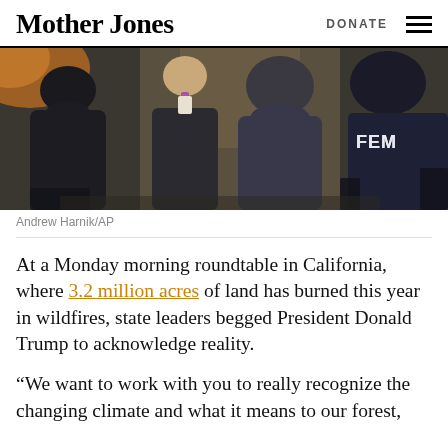Mother Jones   DONATE
[Figure (photo): People seated around a table at a roundtable meeting; a man in a FEMA jacket visible on the right, others in suits and dark jackets, seen from behind and side angles.]
Andrew Harnik/AP
At a Monday morning roundtable in California, where 3.2 million acres of land has burned this year in wildfires, state leaders begged President Donald Trump to acknowledge reality.
“We want to work with you to really recognize the changing climate and what it means to our forest,